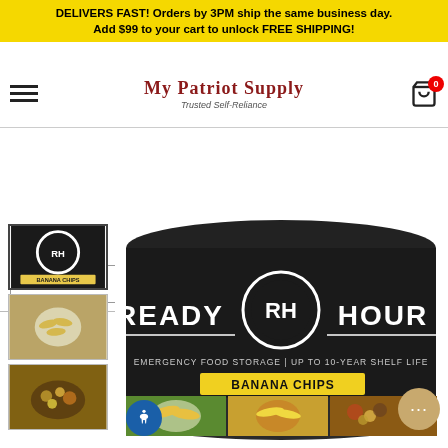DELIVERS FAST! Orders by 3PM ship the same business day. Add $99 to your cart to unlock FREE SHIPPING!
[Figure (logo): My Patriot Supply logo with tagline 'Trusted Self-Reliance']
Search...
HOME / ALL
[Figure (photo): Ready Hour Banana Chips emergency food storage can with product imagery showing banana chips]
[Figure (photo): Thumbnail of Ready Hour can]
[Figure (photo): Thumbnail of banana chips in bowl]
[Figure (photo): Thumbnail of mixed snacks in bowl]